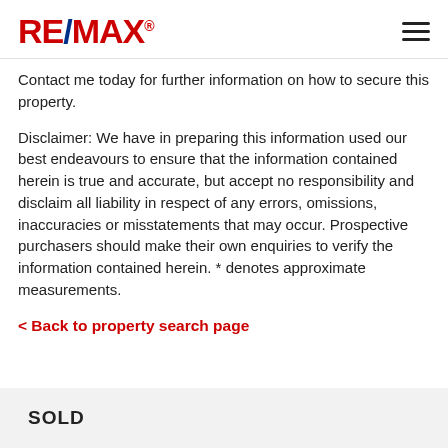RE/MAX
Contact me today for further information on how to secure this property.
Disclaimer: We have in preparing this information used our best endeavours to ensure that the information contained herein is true and accurate, but accept no responsibility and disclaim all liability in respect of any errors, omissions, inaccuracies or misstatements that may occur. Prospective purchasers should make their own enquiries to verify the information contained herein. * denotes approximate measurements.
< Back to property search page
SOLD